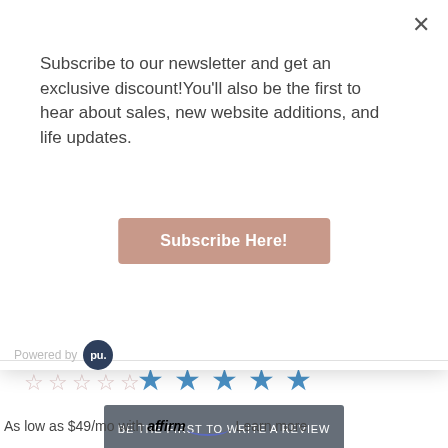Subscribe to our newsletter and get an exclusive discount!You'll also be the first to hear about sales, new website additions, and life updates.
Subscribe Here!
[Figure (other): Powered by logo - dark circle with 'pu.' text]
[Figure (other): Five empty star rating icons]
[Figure (other): Five filled blue star icons]
BE THE FIRST TO WRITE A REVIEW
As low as $49/mo with affirm. Learn more